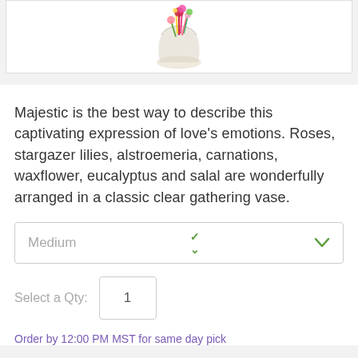[Figure (photo): Floral arrangement in a clear glass vase with colorful flowers including roses, stargazer lilies, alstroemeria, carnations, waxflower, eucalyptus and salal, partially visible at top of page]
Majestic is the best way to describe this captivating expression of love's emotions. Roses, stargazer lilies, alstroemeria, carnations, waxflower, eucalyptus and salal are wonderfully arranged in a classic clear gathering vase.
Medium
Select a Qty: 1
Order by 12:00 PM MST for same day pick